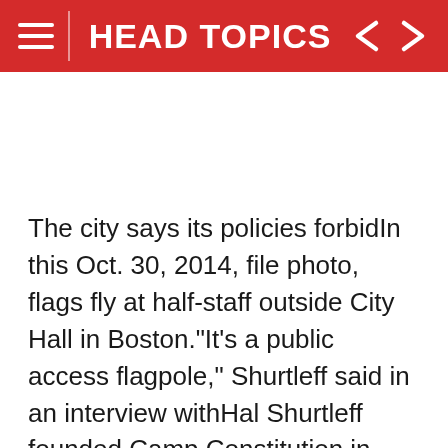HEAD TOPICS
The city says its policies forbidIn this Oct. 30, 2014, file photo, flags fly at half-staff outside City Hall in Boston."It's a public access flagpole," Shurtleff said in an interview withHal Shurtleff founded Camp Constitution in 2009. He's asking the U.S. Supreme Court to allow him to fly the Christian flag outside Boston City Hall.